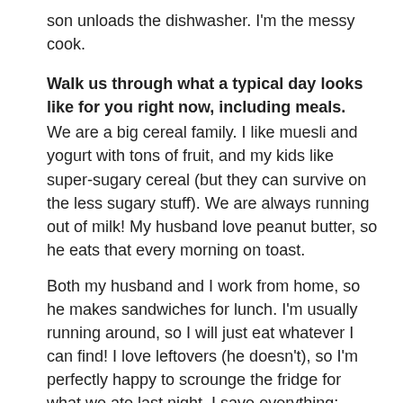son unloads the dishwasher. I'm the messy cook.
Walk us through what a typical day looks like for you right now, including meals.
We are a big cereal family. I like muesli and yogurt with tons of fruit, and my kids like super-sugary cereal (but they can survive on the less sugary stuff). We are always running out of milk! My husband love peanut butter, so he eats that every morning on toast.
Both my husband and I work from home, so he makes sandwiches for lunch. I'm usually running around, so I will just eat whatever I can find! I love leftovers (he doesn't), so I'm perfectly happy to scrounge the fridge for what we ate last night. I save everything: leftover hamburgers, veggies, rice. I will often just throw stuff on a bed of romaine and toss with avocado and Trader Joe's yuzu hot sauce.